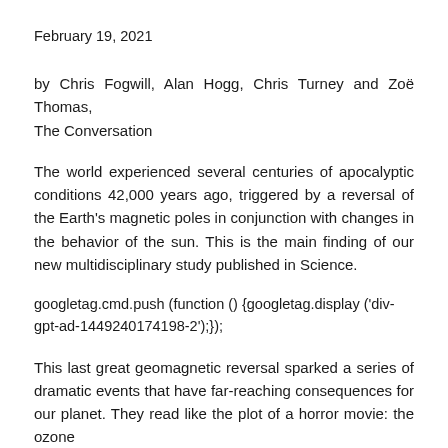February 19, 2021
by Chris Fogwill, Alan Hogg, Chris Turney and Zoë Thomas, The Conversation
The world experienced several centuries of apocalyptic conditions 42,000 years ago, triggered by a reversal of the Earth's magnetic poles in conjunction with changes in the behavior of the sun. This is the main finding of our new multidisciplinary study published in Science.
googletag.cmd.push (function () {googletag.display ('div-gpt-ad-1449240174198-2');});
This last great geomagnetic reversal sparked a series of dramatic events that have far-reaching consequences for our planet. They read like the plot of a horror movie: the ozone